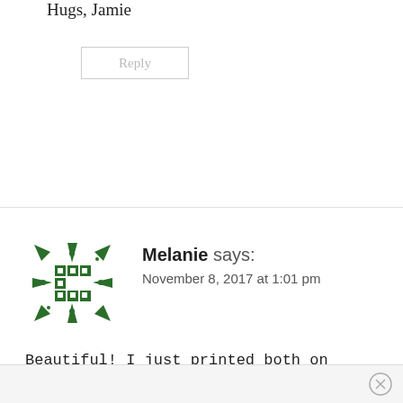Hugs, Jamie
Reply
Melanie says:
November 8, 2017 at 1:01 pm
Beautiful! I just printed both on metallic card stock and they are stunning! Thank you!
Reply